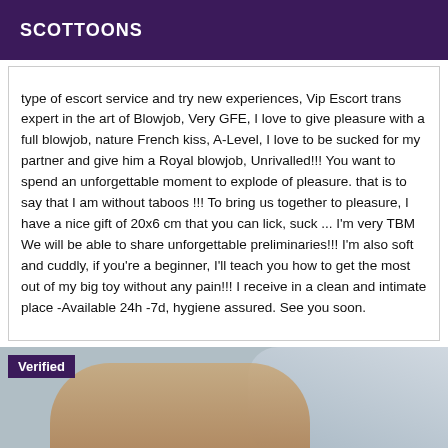SCOTTOONS
type of escort service and try new experiences, Vip Escort trans expert in the art of Blowjob, Very GFE, I love to give pleasure with a full blowjob, nature French kiss, A-Level, I love to be sucked for my partner and give him a Royal blowjob, Unrivalled!!! You want to spend an unforgettable moment to explode of pleasure. that is to say that I am without taboos !!! To bring us together to pleasure, I have a nice gift of 20x6 cm that you can lick, suck ... I'm very TBM We will be able to share unforgettable preliminaries!!! I'm also soft and cuddly, if you're a beginner, I'll teach you how to get the most out of my big toy without any pain!!! I receive in a clean and intimate place -Available 24h -7d, hygiene assured. See you soon.
[Figure (photo): Verified photo thumbnail showing partial body image with clothing, with a purple 'Verified' badge overlay in the top-left corner.]